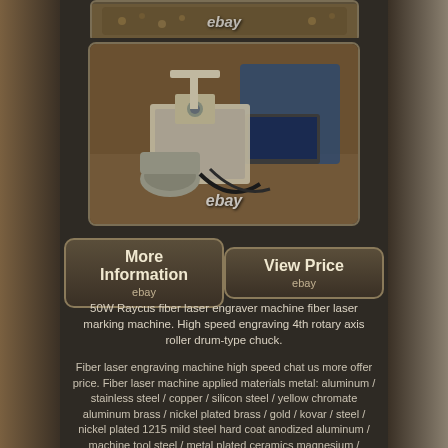[Figure (photo): Top partial photo of laser engraver machine with ebay watermark]
[Figure (photo): Main photo of 50W Raycus fiber laser engraver machine with rotary axis on floor, with laptop and accessories, ebay watermark]
More Information ebay
View Price ebay
50W Raycus fiber laser engraver machine fiber laser marking machine. High speed engraving 4th rotary axis roller drum-type chuck.
Fiber laser engraving machine high speed chat us more offer price. Fiber laser machine applied materials metal: aluminum / stainless steel / copper / silicon steel / yellow chromate aluminum brass / nickel plated brass / gold / kovar / steel / nickel plated 1215 mild steel hard coat anodized aluminum / machine tool steel / metal plated ceramics magnesium / molybdenum / carbon fiber / carbon